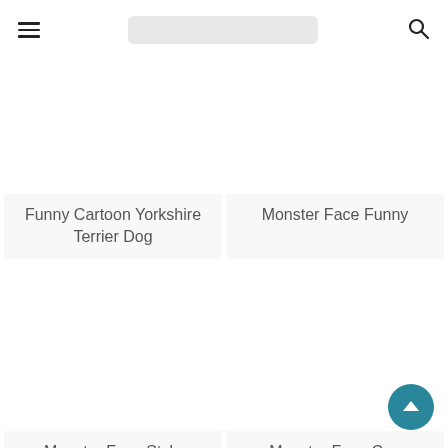Navigation bar with hamburger menu, search bar, and search icon
Funny Cartoon Yorkshire Terrier Dog
Monster Face Funny
Monster Face Style
Monster Face Coo[l]